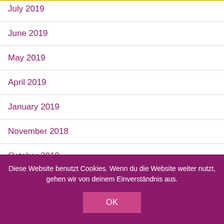July 2019
June 2019
May 2019
April 2019
January 2019
November 2018
October 2018
September 2018
August 2018
Diese Website benutzt Cookies. Wenn du die Website weiter nutzt, gehen wir von deinem Einverständnis aus.